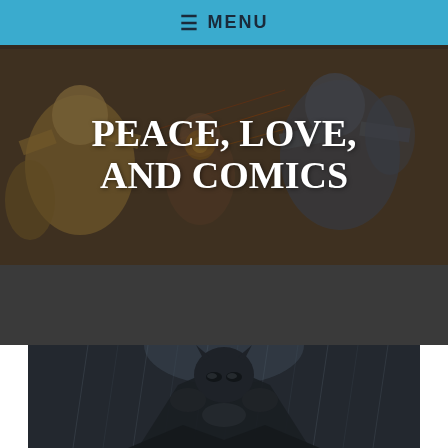≡ MENU
PEACE, LOVE, AND COMICS
[Figure (illustration): Comic book artwork background showing Marvel/DC superhero fight scene with multiple characters in battle, muted dark overlay]
[Figure (photo): Batman character illustration in dark rainy setting, dark armored suit, dramatic lighting, lower portion of image visible]